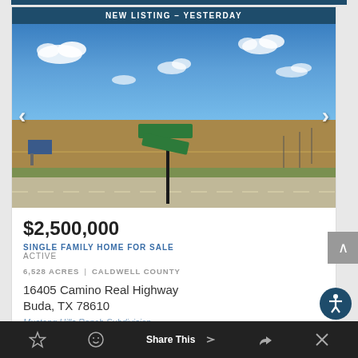[Figure (photo): Outdoor photo of a road intersection with a green street sign on a pole, flat Texas landscape, blue sky with clouds, brown fields and grass in the background. Navigation arrows on left and right sides.]
$2,500,000
SINGLE FAMILY HOME FOR SALE
ACTIVE
6,528 ACRES | CALDWELL COUNTY
16405 Camino Real Highway
Buda, TX 78610
Mustang Hills Ranch Subdivision
Share This